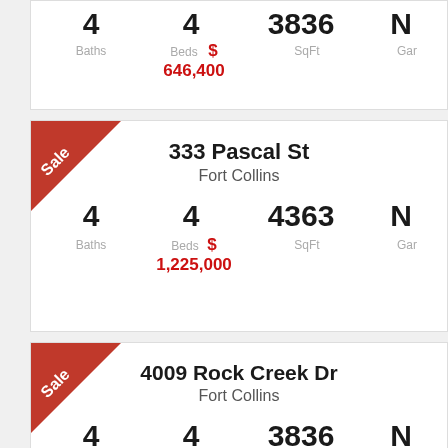[Figure (other): Partial listing card at top, cropped. Shows stats: 4 Baths, 4 Beds, 3836 SqFt, Gar. Price $646,400.]
333 Pascal St, Fort Collins. 4 Baths, 4 Beds, 4363 SqFt, N (Gar). Price $1,225,000. Sale badge.
4009 Rock Creek Dr, Fort Collins. 4 Baths, 4 Beds, 3836 SqFt, N (Gar). Price $597,047. Sale badge.